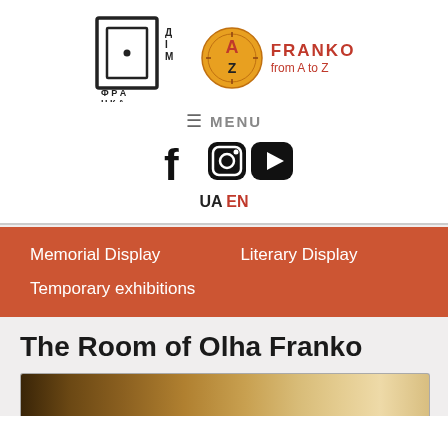[Figure (logo): Dim Franka museum logo - stylized geometric house/window shape with Cyrillic text ДІМ ФРАНКА]
[Figure (logo): Franko from A to Z logo - circular orange/gold decorative emblem with A and Z letters, text FRANKO from A to Z in red]
≡ MENU
[Figure (other): Social media icons: Facebook (f), Instagram (camera), YouTube (play button)]
UA EN
Memorial Display
Literary Display
Temporary exhibitions
The Room of Olha Franko
[Figure (photo): Partial view of a room interior, warm toned photograph, bottom of page]